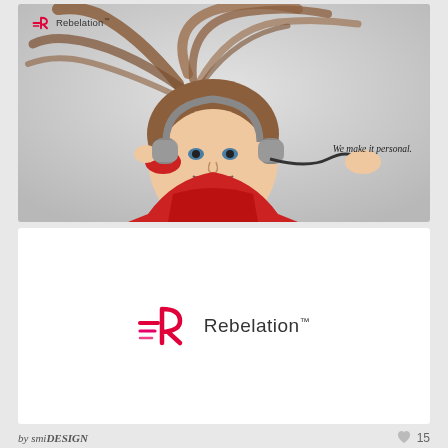[Figure (photo): Advertisement photo showing a young woman with long hair flying out, wearing a red sweater and over-ear headphones, smiling/laughing. Rebelation logo with red R icon in top-left. Tagline 'We make it personal.' on the right side.]
[Figure (logo): Rebelation logo centered on white background: stylized pink/red R icon with speed lines on the left, 'Rebelation' wordmark in dark grey on the right.]
by smiDESIGN
15